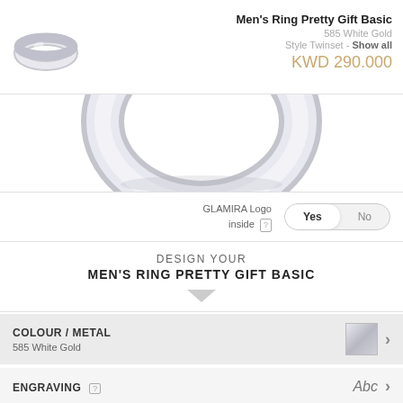[Figure (photo): Small thumbnail image of a men's white gold ring, silver-toned, plain band]
Men's Ring Pretty Gift Basic
585 White Gold
Style Twinset - Show all
KWD 290.000
[Figure (photo): Large close-up partial image of a white gold ring showing the curved band from above]
GLAMIRA Logo inside [?]
Yes / No toggle button
DESIGN YOUR MEN'S RING PRETTY GIFT BASIC
COLOUR / METAL
585 White Gold
ENGRAVING [?]